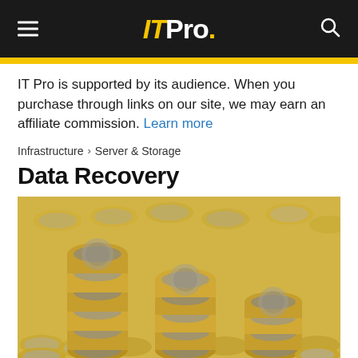IT Pro.
IT Pro is supported by its audience. When you purchase through links on our site, we may earn an affiliate commission. Learn more
Infrastructure > Server & Storage
Data Recovery
[Figure (photo): Stacks of gold and silver coins (British pound coins) piled up against a blurred background of scattered coins, symbolising financial value and data recovery costs.]